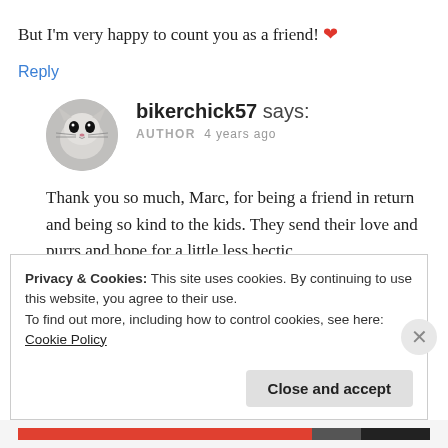But I'm very happy to count you as a friend! ❤
Reply
[Figure (photo): Circular avatar photo of a cat, black and white, close-up of face]
bikerchick57 says: AUTHOR 4 years ago
Thank you so much, Marc, for being a friend in return and being so kind to the kids. They send their love and purrs and hope for a little less hectic.
Privacy & Cookies: This site uses cookies. By continuing to use this website, you agree to their use. To find out more, including how to control cookies, see here: Cookie Policy
Close and accept